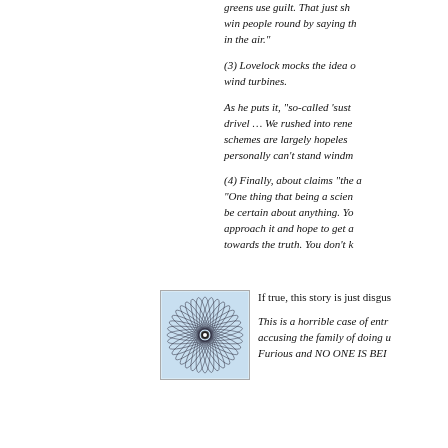greens use guilt. That just sh... win people round by saying th... in the air."
(3) Lovelock mocks the idea ... wind turbines.
As he puts it, "so-called 'sust... drivel … We rushed into rene... schemes are largely hopeles... personally can't stand windm...
(4) Finally, about claims "the ... "One thing that being a scien... be certain about anything. Yo... approach it and hope to get a... towards the truth. You don't k...
[Figure (other): Small thumbnail image with a spiral/circular pattern on a light blue background]
If true, this story is just disgus...
This is a horrible case of entr... accusing the family of doing u... Furious and NO ONE IS BEI...